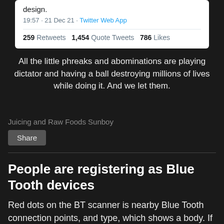[Figure (screenshot): Screenshot of a tweet showing partial text 'design.' with timestamp '19:57 · 21 Dec 21 · Twitter Web App' and stats '259 Retweets  1,454 Quote Tweets  786 Likes']
All the little phreaks and abominations are playing dictator and having a ball destroying millions of lives while doing it. And we let them.
Juicing and Raw Foods Sunboy
Share
People are registering as Blue Tooth devices
Red dots on the BT scanner is nearby Blue Tooth connection points, and type, which shows a body. If cell, it shows a cell symbol. Etc.
They fixed the code in which the vax maker is no longer